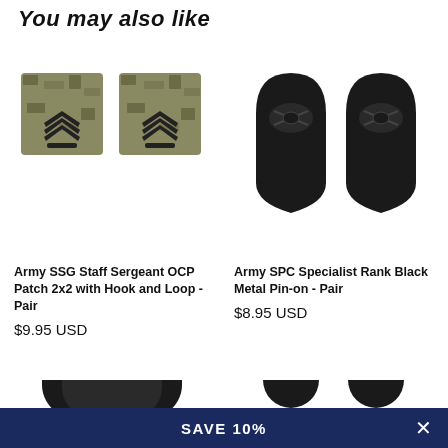You may also like
[Figure (photo): Two OCP camouflage Army SSG Staff Sergeant rank patches side by side]
[Figure (photo): Two black metal Army SPC Specialist rank pin-on insignia side by side]
Army SSG Staff Sergeant OCP Patch 2x2 with Hook and Loop - Pair
$9.95 USD
Army SPC Specialist Rank Black Metal Pin-on - Pair
$8.95 USD
[Figure (photo): Partial view of black military rank insignia item (bottom row left)]
[Figure (photo): Partial view of military insignia items (bottom row right)]
SAVE 10%